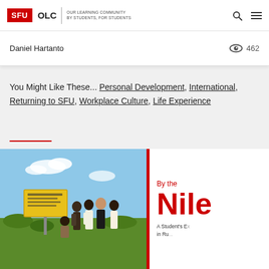SFU OLC | OUR LEARNING COMMUNITY BY STUDENTS, FOR STUDENTS
Daniel Hartanto  👁 462
You Might Like These... Personal Development, International, Returning to SFU, Workplace Culture, Life Experience
[Figure (photo): Group of people standing in front of a yellow sign in an outdoor/rural African setting with blue sky background]
[Figure (illustration): Book or article card reading 'By the Nile - A Student's Experience in Rural...']